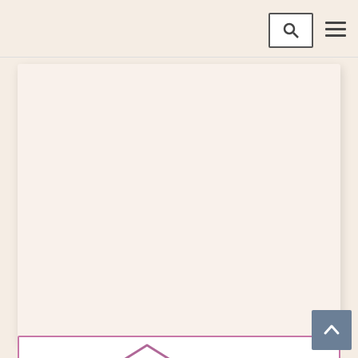[Figure (screenshot): Empty content card area with light beige/cream background]
Filter By Topic
Economy
Stock
Trade
National
[Figure (illustration): Bottom partial card with pink/mauve border and partial arrow graphic visible at bottom of page]